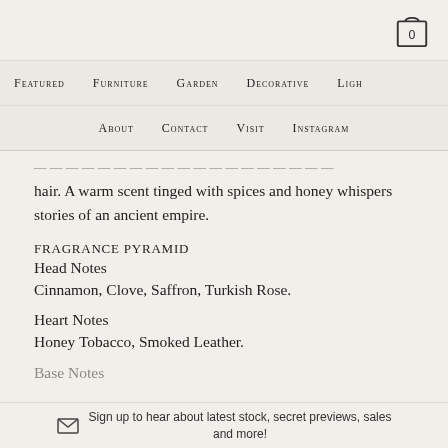Navigation: Featured, Furniture, Garden, Decorative, Lighting | About, Contact, Visit, Instagram
...hair. A warm scent tinged with spices and honey whispers stories of an ancient empire.
FRAGRANCE PYRAMID
Head Notes
Cinnamon, Clove, Saffron, Turkish Rose.
Heart Notes
Honey Tobacco, Smoked Leather.
Base Notes
Sign up to hear about latest stock, secret previews, sales and more!